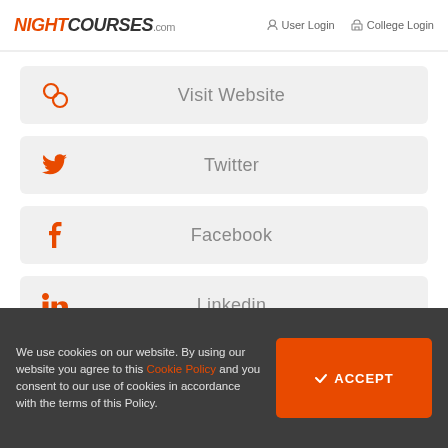NIGHTCOURSES.com | User Login | College Login
Visit Website
Twitter
Facebook
Linkedin
We use cookies on our website. By using our website you agree to this Cookie Policy and you consent to our use of cookies in accordance with the terms of this Policy.